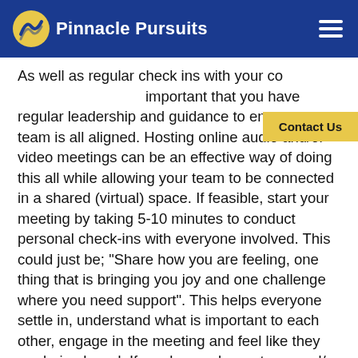Pinnacle Pursuits
As well as regular check ins with your co... important that you have regular leadership and guidance to ensure your team is all aligned. Hosting online audio and/or video meetings can be an effective way of doing this all while allowing your team to be connected in a shared (virtual) space. If feasible, start your meeting by taking 5-10 minutes to conduct personal check-ins with everyone involved. This could just be; “Share how you are feeling, one thing that is bringing you joy and one challenge where you need support”. This helps everyone settle in, understand what is important to each other, engage in the meeting and feel like they are being heard. If you have a larger team and/or limited time for meetings then you can always hold virtual coffee mornings to give space and time to connect.